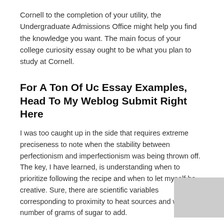Cornell to the completion of your utility, the Undergraduate Admissions Office might help you find the knowledge you want. The main focus of your college curiosity essay ought to be what you plan to study at Cornell.
For A Ton Of Uc Essay Examples, Head To My Weblog Submit Right Here
I was too caught up in the side that requires extreme preciseness to note when the stability between perfectionism and imperfectionism was being thrown off. The key, I have learned, is understanding when to prioritize following the recipe and when to let myself be creative. Sure, there are scientific variables corresponding to proximity to heat sources and what number of grams of sugar to add.
Be Part Of Us For A Virtual Data Session With An Admission Officer